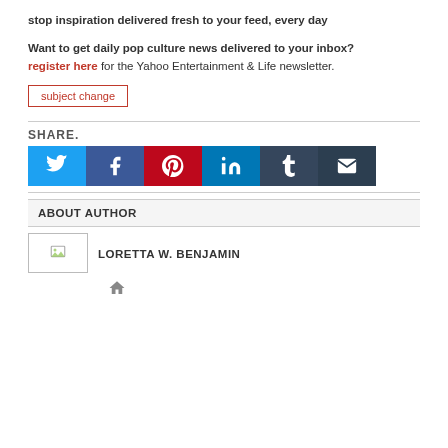stop inspiration delivered fresh to your feed, every day
Want to get daily pop culture news delivered to your inbox? register here for the Yahoo Entertainment & Life newsletter.
subject change
SHARE.
[Figure (infographic): Social share buttons: Twitter (blue), Facebook (dark blue), Pinterest (red), LinkedIn (teal), Tumblr (dark blue-grey), Email (dark)]
ABOUT AUTHOR
[Figure (photo): Author photo placeholder with small image icon]
LORETTA W. BENJAMIN
[Figure (infographic): Home icon]